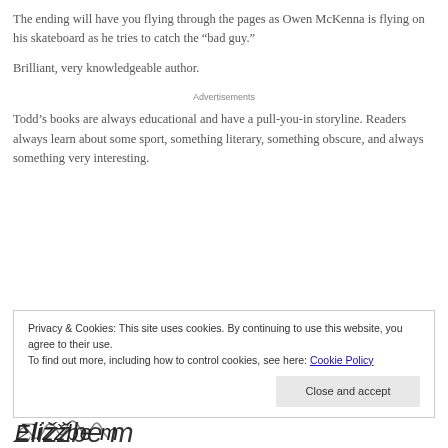The ending will have you flying through the pages as Owen McKenna is flying on his skateboard as he tries to catch the “bad guy.”
Brilliant, very knowledgeable author.
Advertisements
Todd’s books are always educational and have a pull-you-in storyline. Readers always learn about some sport, something literary, something obscure, and always something very interesting.
Privacy & Cookies: This site uses cookies. By continuing to use this website, you agree to their use.
To find out more, including how to control cookies, see here: Cookie Policy
Close and accept
[Figure (illustration): Handwritten signature reading approximately 'Elizabeth M']